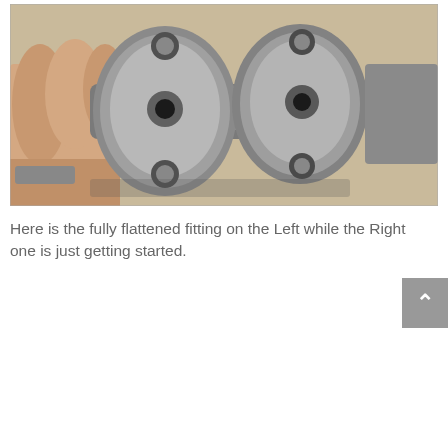[Figure (photo): Close-up photo of two metal pipe fittings with flanges held in a hand. The left fitting is fully flattened (machined flat face visible), while the right fitting is only partially flattened. The fittings are placed on a cardboard surface.]
Here is the fully flattened fitting on the Left while the Right one is just getting started.